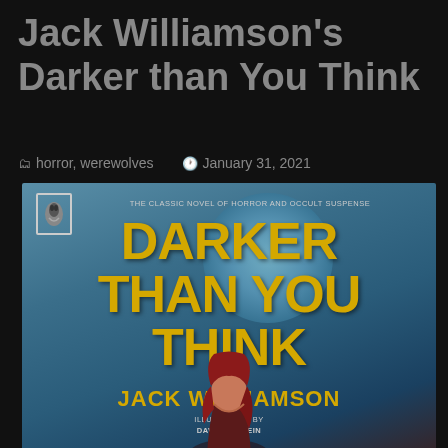Jack Williamson's Darker than You Think
horror, werewolves   January 31, 2021
[Figure (photo): Book cover of 'Darker Than You Think' by Jack Williamson, illustrated by David G. Klein. Features large gold/yellow title text on a teal/blue background with a large moon. A red-haired woman figure is visible at the bottom. Subtitle reads: The Classic Novel of Horror and Occult Suspense. Publisher logo (bird/pelican) in top left corner.]